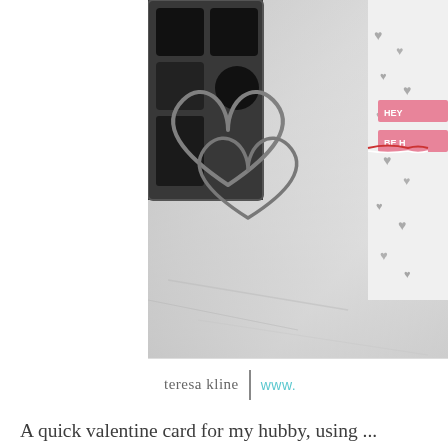[Figure (photo): A craft/stamping photo showing a metallic wire heart die-cut shape placed on a light grey marble-like surface, with ink stamp pads visible in the upper left area and a handmade Valentine card with grey heart pattern visible on the right side. A red and white baker's twine and pink label with 'HEY' and 'BE H' text visible on the card. Bottom of photo shows watermark: 'teresa kline | www...' with the name in grey serif font and URL in teal.]
A quick valentine card for my hubby, using ... company! I used the background heart stamp... used the heart die and cut out the heart sh...